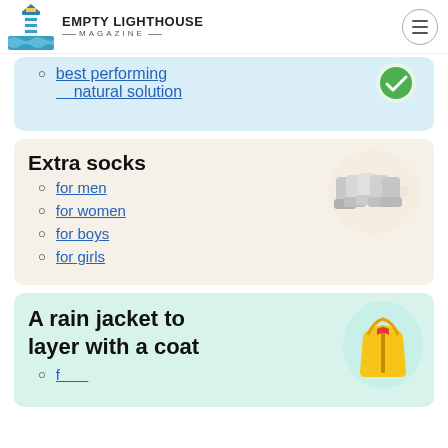EMPTY LIGHTHOUSE MAGAZINE
best performing natural solution
Extra socks
for men
for women
for boys
for girls
A rain jacket to layer with a coat